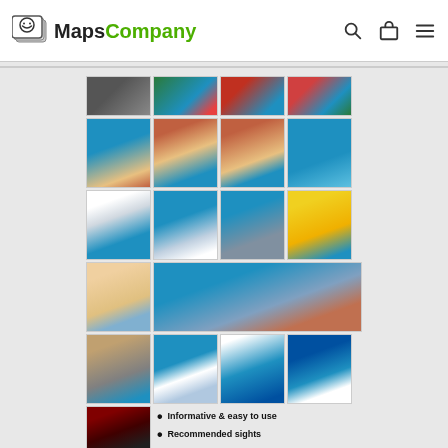[Figure (logo): MapsCompany logo with icon and text in black and green]
[Figure (photo): Grid of travel photos showing French Riviera/Monaco scenes: harbor, boats, marina, ornate buildings, clock tower, yachts, beach umbrellas, coastal flowers]
Informative & easy to use
Recommended sights